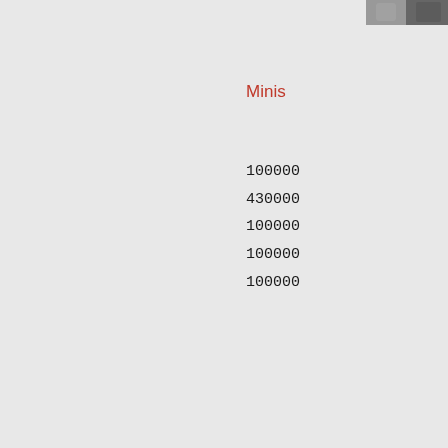[Figure (photo): Partial photo of a person, visible at top-right corner of page]
Minis
100000
430000
100000
100000
100000
[Figure (photo): Outdoor scene with tables/chairs, possibly a market or open-air facility, visible at bottom-right]
Full te
Of Inc